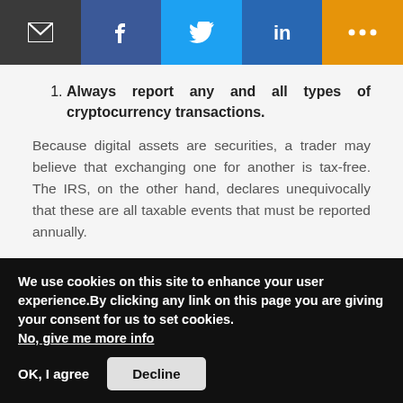[Figure (other): Social sharing bar with email, Facebook, Twitter, LinkedIn, and more buttons]
Always report any and all types of cryptocurrency transactions.
Because digital assets are securities, a trader may believe that exchanging one for another is tax-free. The IRS, on the other hand, declares unequivocally that these are all taxable events that must be reported annually.
To report cryptocurrency transactions, always use the correct form.
Whether you're trading crypto, mining it, investing in it, or utilising it as a medium of exchange, each type may require a distinct filing form. As a result, a user must be
We use cookies on this site to enhance your user experience.By clicking any link on this page you are giving your consent for us to set cookies. No, give me more info
OK, I agree   Decline